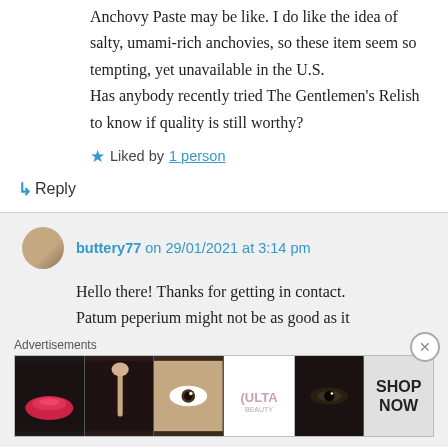Anchovy Paste may be like. I do like the idea of salty, umami-rich anchovies, so these item seem so tempting, yet unavailable in the U.S. Has anybody recently tried The Gentlemen's Relish to know if quality is still worthy?
★ Liked by 1 person
↳ Reply
buttery77 on 29/01/2021 at 3:14 pm
Hello there! Thanks for getting in contact. Patum peperium might not be as good as it
[Figure (photo): Advertisement banner showing makeup/beauty images with ULTA logo and SHOP NOW text]